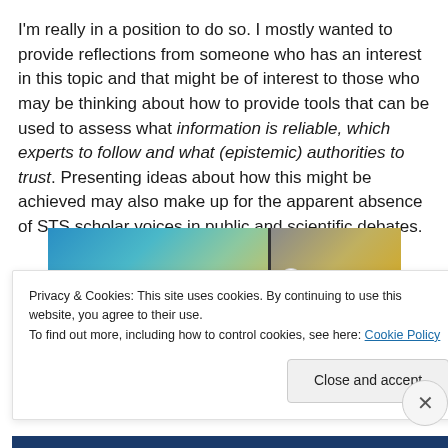I'm really in a position to do so. I mostly wanted to provide reflections from someone who has an interest in this topic and that might be of interest to those who may be thinking about how to provide tools that can be used to assess what information is reliable, which experts to follow and what (epistemic) authorities to trust. Presenting ideas about how this might be achieved may also make up for the apparent absence of STS scholar voices in public and scientific debates.
[Figure (photo): Partial image strip showing a gradient blue-green-yellow image on the left and a golden/grey image on the right with a small Aa badge.]
Privacy & Cookies: This site uses cookies. By continuing to use this website, you agree to their use.
To find out more, including how to control cookies, see here: Cookie Policy